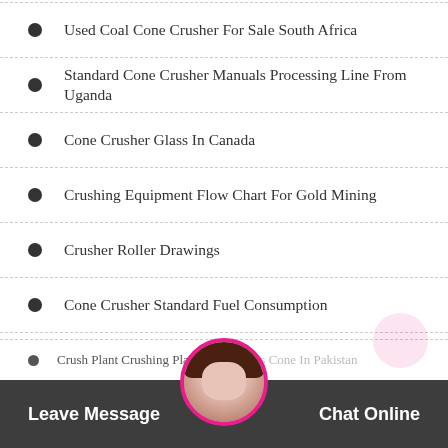Used Coal Cone Crusher For Sale South Africa
Standard Cone Crusher Manuals Processing Line From Uganda
Cone Crusher Glass In Canada
Crushing Equipment Flow Chart For Gold Mining
Crusher Roller Drawings
Cone Crusher Standard Fuel Consumption
Jaw Crusher Gyratory And Cone Crusher
Crush Plant Crushing Plant Roller Mills Cone In Pakistan
Leave Message   Chat Online